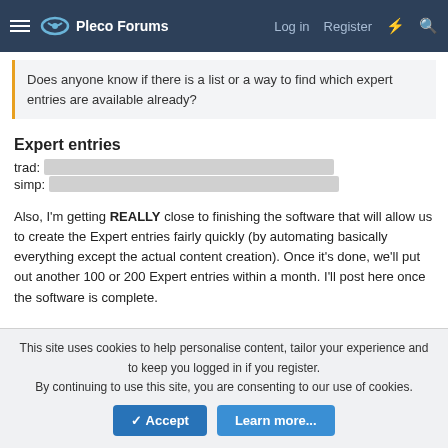Pleco Forums — Log in  Register
Does anyone know if there is a list or a way to find which expert entries are available already?
Expert entries
trad: [Chinese characters]
simp: [Chinese characters]
Also, I'm getting REALLY close to finishing the software that will allow us to create the Expert entries fairly quickly (by automating basically everything except the actual content creation). Once it's done, we'll put out another 100 or 200 Expert entries within a month. I'll post here once the software is complete.
pdwalker, Miguel, JD and 3 others
This site uses cookies to help personalise content, tailor your experience and to keep you logged in if you register. By continuing to use this site, you are consenting to our use of cookies.